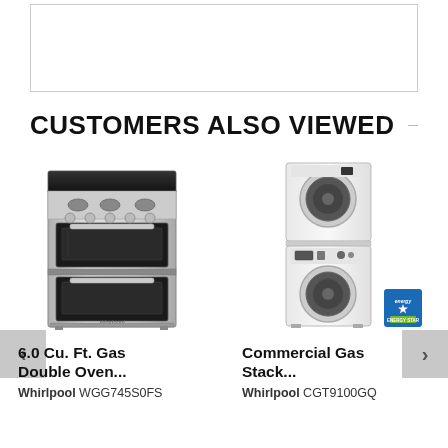[Figure (other): Empty white bordered rectangle at top of page]
CUSTOMERS ALSO VIEWED
[Figure (photo): Whirlpool 6.0 Cu. Ft. Gas Double Oven range in stainless steel]
[Figure (photo): Whirlpool Commercial Gas Stack washer/dryer unit in white with Energy Star badge]
6.0 Cu. Ft. Gas Double Oven...
Commercial Gas Stack...
Whirlpool WGG745S0FS
Whirlpool CGT9100GQ